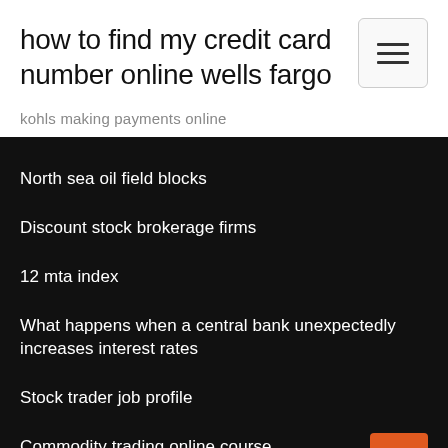how to find my credit card number online wells fargo
kohls making payments online
North sea oil field blocks
Discount stock brokerage firms
12 mta index
What happens when a central bank unexpectedly increases interest rates
Stock trader job profile
Commodity trading online course
Indian private bank stocks